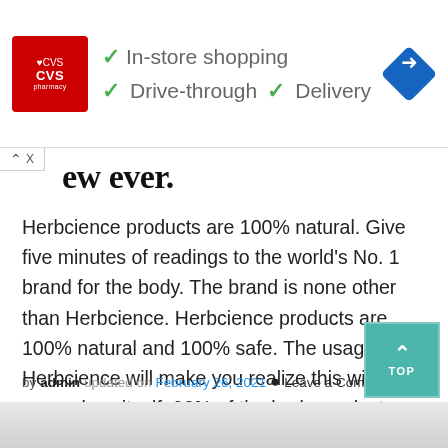[Figure (screenshot): CVS Pharmacy advertisement banner showing In-store shopping, Drive-through, and Delivery options with checkmarks, plus a navigation icon]
ew ever.
Herbcience products are 100% natural. Give five minutes of readings to the world's No. 1 brand for the body. The brand is none other than Herbcience. Herbcience products are 100% natural and 100% safe. The usage of Herbcience will make you realize this within some days itself. 90% of the body products available are fully ...
by admin updated on February 26, 2021 ● Leave a Comment
[Figure (photo): Partial image of a woman with flower hair accessory and a heart shape drawing visible at bottom of page]